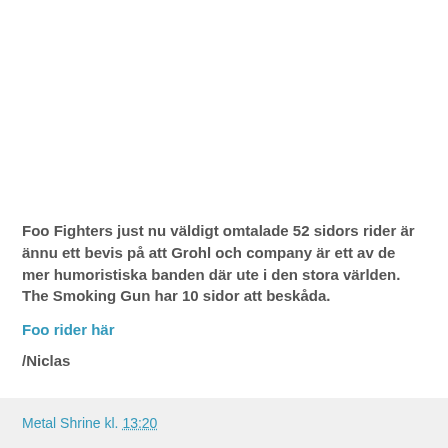Foo Fighters just nu väldigt omtalade 52 sidors rider är ännu ett bevis på att Grohl och company är ett av de mer humoristiska banden där ute i den stora världen. The Smoking Gun har 10 sidor att beskåda.
Foo rider här
/Niclas
Metal Shrine kl. 13:20